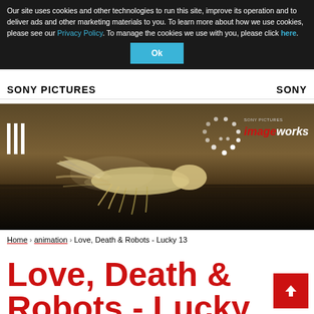Our site uses cookies and other technologies to run this site, improve its operation and to deliver ads and other marketing materials to you. To learn more about how we use cookies, please see our Privacy Policy. To manage the cookies we use with you, please click here.
Ok
[Figure (logo): Sony Pictures logo on left, SONY logo on right in white header bar]
[Figure (photo): Hero image of alien creature (insect-like) on dark rocky ground with dust, Sony Pictures Imageworks logo overlay with dotted circle emblem in top right]
Home > animation > Love, Death & Robots - Lucky 13
Love, Death & Robots - Lucky 13